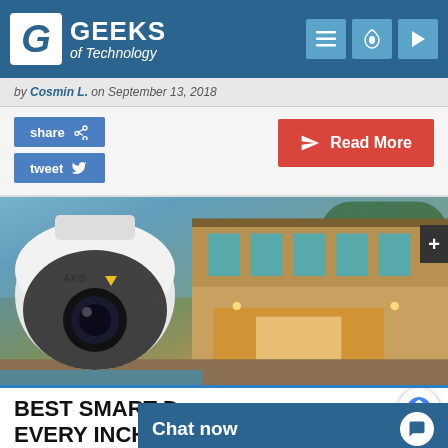GEEKS of Technology
by Cosmin L. on September 13, 2018
share
tweet
Read More
[Figure (photo): AXIS Communications dome security camera overlaid on a modern house exterior at dusk with warm lighting]
BEST SMART D... EVERY INCH O...
Chat now